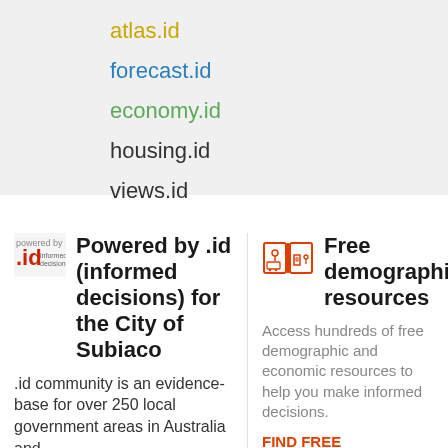atlas.id
forecast.id
economy.id
housing.id
views.id
[Figure (logo): .id informed decisions logo]
Powered by .id (informed decisions) for the City of Subiaco
.id community is an evidence-base for over 250 local government areas in Australia and
[Figure (illustration): Open book with map pin and building icons, orange outline style]
Free demographic resources
Access hundreds of free demographic and economic resources to help you make informed decisions.
FIND FREE RESOURCES >